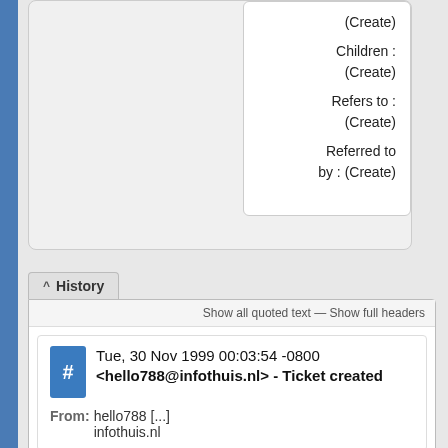(Create)
Children : (Create)
Refers to : (Create)
Referred to by : (Create)
History
Show all quoted text — Show full headers
Tue, 30 Nov 1999 00:03:54 -0800 <hello788@infothuis.nl> - Ticket created
From: hello788 [...]
infothuis.nl